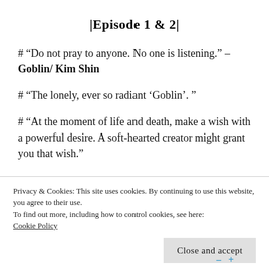|Episode 1 & 2|
# “Do not pray to anyone. No one is listening.” – Goblin/ Kim Shin
# “The lonely, ever so radiant ‘Goblin’. ”
# “At the moment of life and death, make a wish with a powerful desire. A soft-hearted creator might grant you that wish.”
Privacy & Cookies: This site uses cookies. By continuing to use this website, you agree to their use.
To find out more, including how to control cookies, see here: Cookie Policy
Close and accept